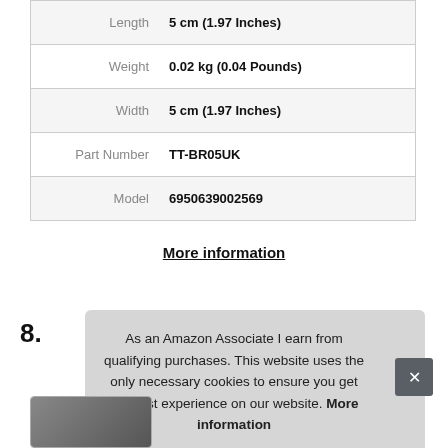|  |  |
| --- | --- |
| Length | 5 cm (1.97 Inches) |
| Weight | 0.02 kg (0.04 Pounds) |
| Width | 5 cm (1.97 Inches) |
| Part Number | TT-BR05UK |
| Model | 6950639002569 |
More information
8.
As an Amazon Associate I earn from qualifying purchases. This website uses the only necessary cookies to ensure you get the best experience on our website. More information